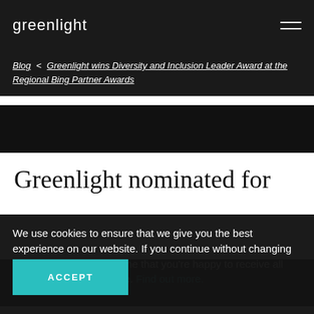greenlight
Blog < Greenlight wins Diversity and Inclusion Leader Award at the Regional Bing Partner Awards
[Figure (photo): Dark hero image banner]
Greenlight nominated for
We use cookies to ensure that we give you the best experience on our website. If you continue without changing your settings, we'll assume that you're happy to receive all cookies from this website. Find out more.
ACCEPT